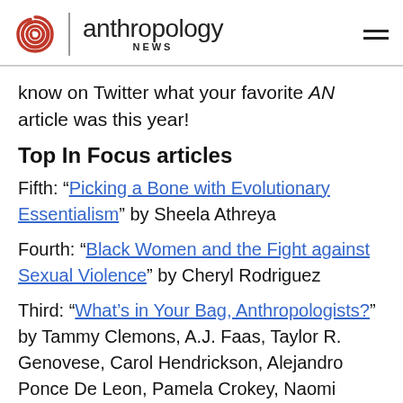anthropology NEWS
know on Twitter what your favorite AN article was this year!
Top In Focus articles
Fifth: “Picking a Bone with Evolutionary Essentialism” by Sheela Athreya
Fourth: “Black Women and the Fight against Sexual Violence” by Cheryl Rodriguez
Third: “What’s in Your Bag, Anthropologists?” by Tammy Clemons, A.J. Faas, Taylor R. Genovese, Carol Hendrickson, Alejandro Ponce De Leon, Pamela Crokey, Naomi Whitehorse, Zanetta Reed...